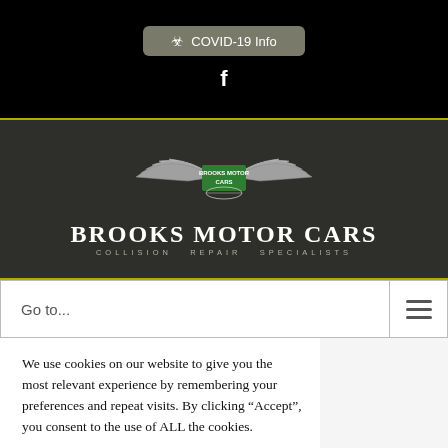[Figure (screenshot): COVID-19 Info button with biohazard icon on black background]
[Figure (logo): Brooks Motor Cars winged logo with green center badge and brand name]
Go to...
We use cookies on our website to give you the most relevant experience by remembering your preferences and repeat visits. By clicking “Accept”, you consent to the use of ALL the cookies.
Do not sell my personal information.